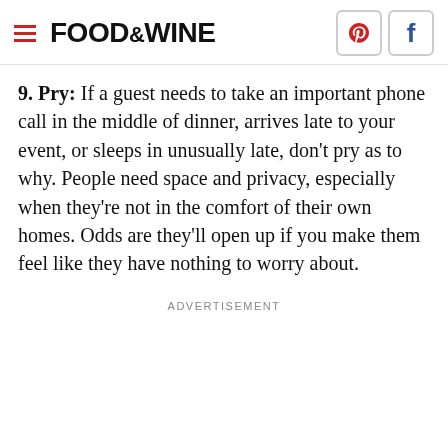FOOD & WINE
9. Pry: If a guest needs to take an important phone call in the middle of dinner, arrives late to your event, or sleeps in unusually late, don't pry as to why. People need space and privacy, especially when they're not in the comfort of their own homes. Odds are they'll open up if you make them feel like they have nothing to worry about.
ADVERTISEMENT